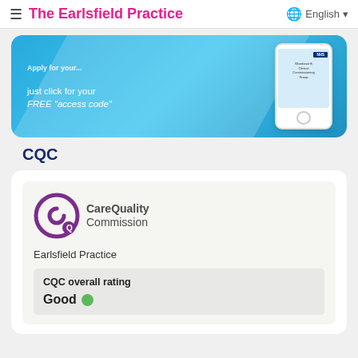The Earlsfield Practice — English
[Figure (screenshot): Promotional banner for NHS app with text 'just click for your FREE access code' and a phone mockup showing NHS Wandsworth Clinical Commissioning Group]
CQC
[Figure (logo): Care Quality Commission logo — purple circular Q icon with CareQuality Commission text]
Earlsfield Practice
CQC overall rating
Good ●